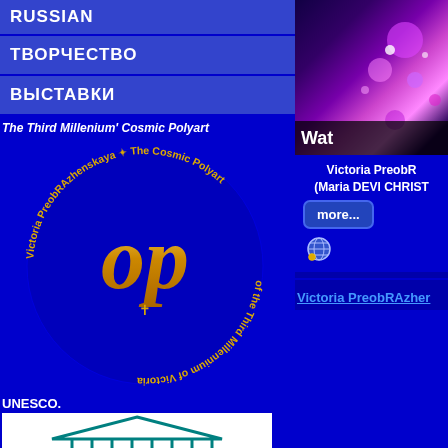RUSSIAN
ТВОРЧЕСТВО
ВЫСТАВКИ
The Third Millenium' Cosmic Polyart
[Figure (logo): Circular logo with Cyrillic and Latin text reading 'Victoria PreobRAzhenskaya - The Cosmic Polyart of the Third Millennium' with golden monogram in center on blue background]
UNESCO.
[Figure (logo): UNESCO logo - temple/columns building over horizontal lines in teal/blue color]
[Figure (photo): Space/galaxy image with purple and pink colors, partially cropped on right side]
Wat
Victoria PreobR
(Maria DEVI CHRIST
more...
Victoria PreobRAzher